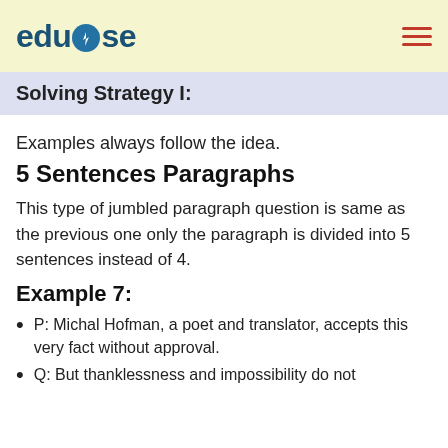edudose
Solving Strategy I:
Examples always follow the idea.
5 Sentences Paragraphs
This type of jumbled paragraph question is same as the previous one only the paragraph is divided into 5 sentences instead of 4.
Example 7:
P: Michal Hofman, a poet and translator, accepts this very fact without approval.
Q: But thanklessness and impossibility do not